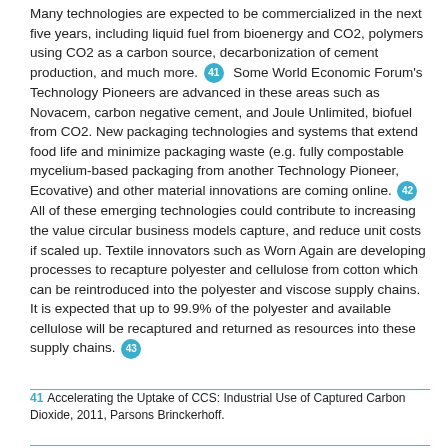Many technologies are expected to be commercialized in the next five years, including liquid fuel from bioenergy and CO2, polymers using CO2 as a carbon source, decarbonization of cement production, and much more. [41] Some World Economic Forum's Technology Pioneers are advanced in these areas such as Novacem, carbon negative cement, and Joule Unlimited, biofuel from CO2. New packaging technologies and systems that extend food life and minimize packaging waste (e.g. fully compostable mycelium-based packaging from another Technology Pioneer, Ecovative) and other material innovations are coming online. [42] All of these emerging technologies could contribute to increasing the value circular business models capture, and reduce unit costs if scaled up. Textile innovators such as Worn Again are developing processes to recapture polyester and cellulose from cotton which can be reintroduced into the polyester and viscose supply chains. It is expected that up to 99.9% of the polyester and available cellulose will be recaptured and returned as resources into these supply chains. [43]
41 Accelerating the Uptake of CCS: Industrial Use of Captured Carbon Dioxide, 2011, Parsons Brinckerhoff.